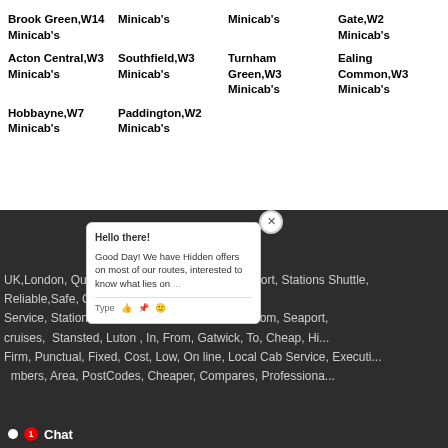Brook Green,W14 Minicab's
Minicab's
Minicab's
Gate,W2 Minicab's
Acton Central,W3 Minicab's
Southfield,W3 Minicab's
Turnham Green,W3 Minicab's
Ealing Common,W3 Minicab's
Hobbayne,W7 Minicab's
Paddington,W2 Minicab's
Tags
UK,London, Quote, cabs, Booking, minicab, Airport, Stations Shuttle, Reliable,Safe, Cabs, Fare, London, Transfers, Service, Station, Chauffeur, Cars, Station, To, From, Seaport, cruises, Stansted, Luton , In, From, Gatwick, To, Cheap, Hire Firm, Punctual, Fixed, Cost, Low, On line, Local Cab Service, Executive Numbers, Area, PostCodes, Cheaper, Compares, Professional hire and, Service, and MiniCabs Terme, Rides, Runcoff, Sho...
[Figure (screenshot): Chat popup widget with message: Hello there! Good Day! We have Hidden offers on most of our routes, interested to know what lies on... with Type, thumbs up, paperclip, emoji icons at bottom]